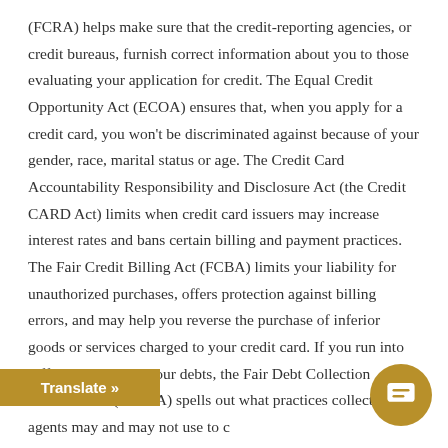(FCRA) helps make sure that the credit-reporting agencies, or credit bureaus, furnish correct information about you to those evaluating your application for credit. The Equal Credit Opportunity Act (ECOA) ensures that, when you apply for a credit card, you won't be discriminated against because of your gender, race, marital status or age. The Credit Card Accountability Responsibility and Disclosure Act (the Credit CARD Act) limits when credit card issuers may increase interest rates and bans certain billing and payment practices. The Fair Credit Billing Act (FCBA) limits your liability for unauthorized purchases, offers protection against billing errors, and may help you reverse the purchase of inferior goods or services charged to your credit card. If you run into difficulty repaying your debts, the Fair Debt Collection Practices Act (FDCPA) spells out what practices collection agents may and may not use to c... st also know your responsibilities an... st take to exercise these rights.